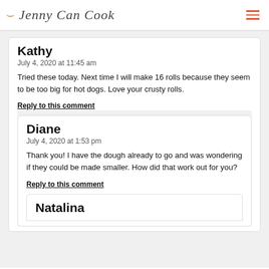Jenny Can Cook
Kathy
July 4, 2020 at 11:45 am

Tried these today. Next time I will make 16 rolls because they seem to be too big for hot dogs. Love your crusty rolls.

Reply to this comment
Diane
July 4, 2020 at 1:53 pm

Thank you! I have the dough already to go and was wondering if they could be made smaller. How did that work out for you?

Reply to this comment
Natalina